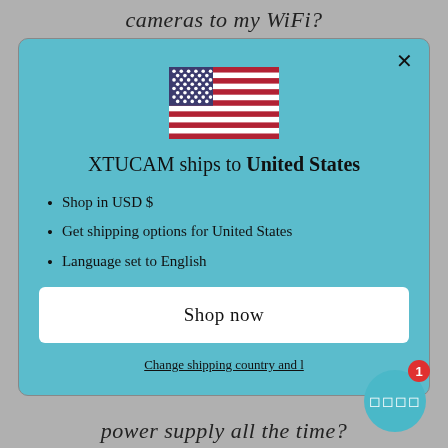cameras to my WiFi?
[Figure (screenshot): Modal popup dialog with US flag, shipping information for XTUCAM, list of features, Shop now button, and change shipping country link]
XTUCAM ships to United States
Shop in USD $
Get shipping options for United States
Language set to English
Shop now
Change shipping country and l
power supply all the time?